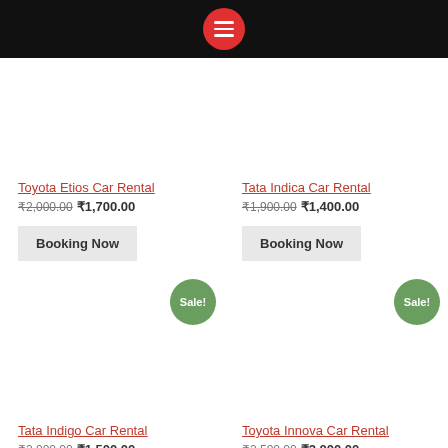Menu navigation header bar
Toyota Etios Car Rental — ₹2,000.00 ₹1,700.00 — Booking Now
Tata Indica Car Rental — ₹1,900.00 ₹1,400.00 — Booking Now
Tata Indigo Car Rental — ₹2,000.00 ₹1,500.00 — Sale!
Toyota Innova Car Rental — ₹2,500.00 ₹2,000.00 — Sale!